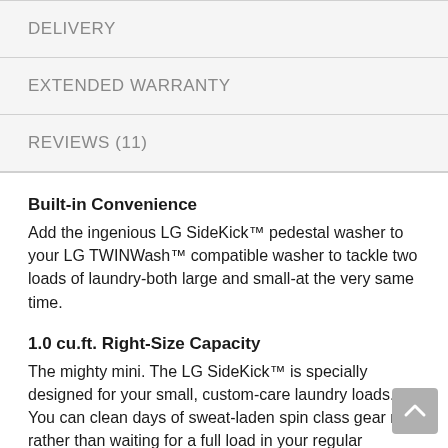DELIVERY
EXTENDED WARRANTY
REVIEWS (11)
Built-in Convenience
Add the ingenious LG SideKick™ pedestal washer to your LG TWINWash™ compatible washer to tackle two loads of laundry-both large and small-at the very same time.
1.0 cu.ft. Right-Size Capacity
The mighty mini. The LG SideKick™ is specially designed for your small, custom-care laundry loads. You can clean days of sweat-laden spin class gear now rather than waiting for a full load in your regular washer. Your clothes (and family) will thank you.